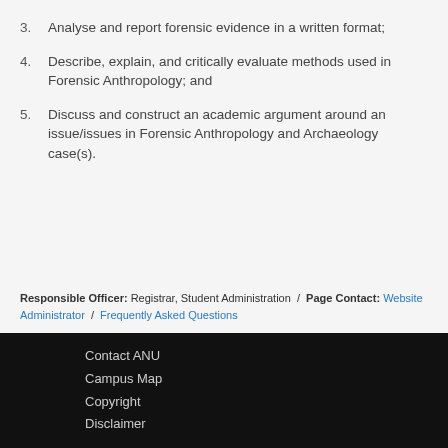3. Analyse and report forensic evidence in a written format;
4. Describe, explain, and critically evaluate methods used in Forensic Anthropology; and
5. Discuss and construct an academic argument around an issue/issues in Forensic Anthropology and Archaeology case(s).
Responsible Officer: Registrar, Student Administration / Page Contact: Website Administrator / Frequently Asked Questions
Contact ANU | Campus Map | Copyright | Disclaimer